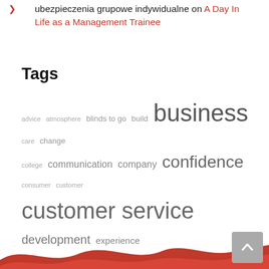ubezpieczenia grupowe indywidualne on A Day In Life as a Management Trainee
Tags
advice atmosphere blinds to go build business care change college communication company confidence consumer customer customer service development experience feedback friendly goals graduate grow growth hands on happy help internship learn learning management manager new positive professional progress real world relationships sales succeed success successful support teach team teamwork training
[Figure (illustration): Red wave / mountain silhouette footer decoration at the bottom of the page]
[Figure (other): Grey scroll-to-top button with upward chevron arrow in bottom-right corner]